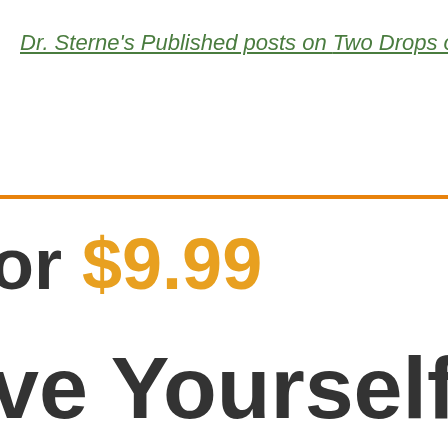Dr. Sterne's Published posts on Two Drops of Ink
or $9.99
ve Yourself and G